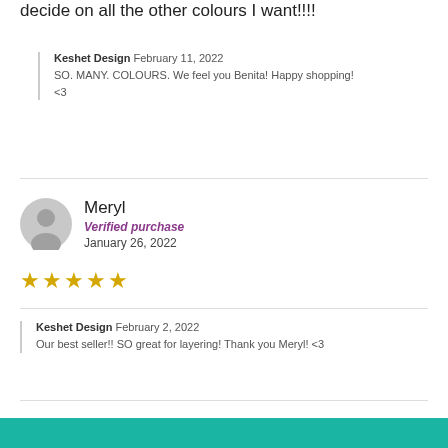decide on all the other colours I want!!!!
Keshet Design February 11, 2022
SO. MANY. COLOURS. We feel you Benita! Happy shopping! <3
Meryl
Verified purchase
January 26, 2022
★★★★★
Keshet Design February 2, 2022
Our best seller!! SO great for layering! Thank you Meryl! <3